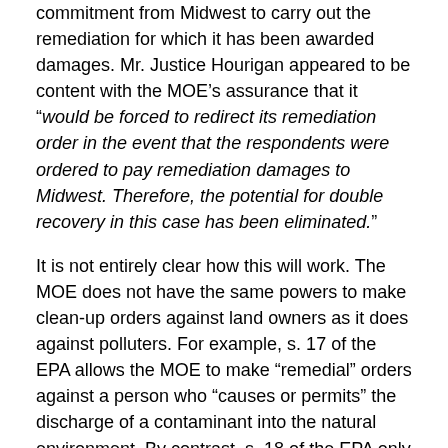commitment from Midwest to carry out the remediation for which it has been awarded damages. Mr. Justice Hourigan appeared to be content with the MOE’s assurance that it “would be forced to redirect its remediation order in the event that the respondents were ordered to pay remediation damages to Midwest. Therefore, the potential for double recovery in this case has been eliminated.”
It is not entirely clear how this will work. The MOE does not have the same powers to make clean-up orders against land owners as it does against polluters. For example, s. 17 of the EPA allows the MOE to make “remedial” orders against a person who “causes or permits” the discharge of a contaminant into the natural environment. By contrast, s. 18 of the EPA only allows the MOE to make “preventive” orders against a person who “owns or owned or who has or had management or control